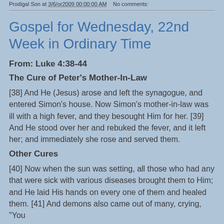Prodigal Son at 3/6/or2009 00:00:00 AM    No comments:
Gospel for Wednesday, 22nd Week in Ordinary Time
From: Luke 4:38-44
The Cure of Peter's Mother-In-Law
[38] And He (Jesus) arose and left the synagogue, and entered Simon's house. Now Simon's mother-in-law was ill with a high fever, and they besought Him for her. [39] And He stood over her and rebuked the fever, and it left her; and immediately she rose and served them.
Other Cures
[40] Now when the sun was setting, all those who had any that were sick with various diseases brought them to Him; and He laid His hands on every one of them and healed them. [41] And demons also came out of many, crying, "You